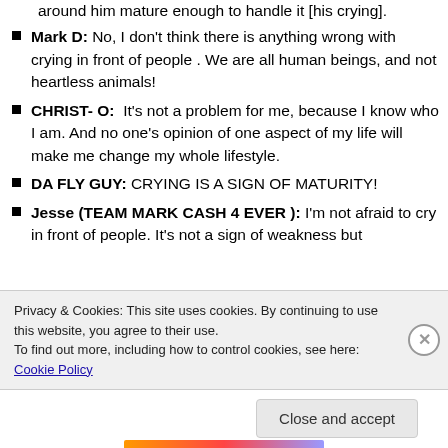around him mature enough to handle it [his crying].
Mark D: No, I don't think there is anything wrong with crying in front of people . We are all human beings, and not heartless animals!
CHRIST- O: It's not a problem for me, because I know who I am. And no one's opinion of one aspect of my life will make me change my whole lifestyle.
DA FLY GUY: CRYING IS A SIGN OF MATURITY!
Jesse (TEAM MARK CASH 4 EVER ): I'm not afraid to cry in front of people. It's not a sign of weakness but
Privacy & Cookies: This site uses cookies. By continuing to use this website, you agree to their use. To find out more, including how to control cookies, see here: Cookie Policy